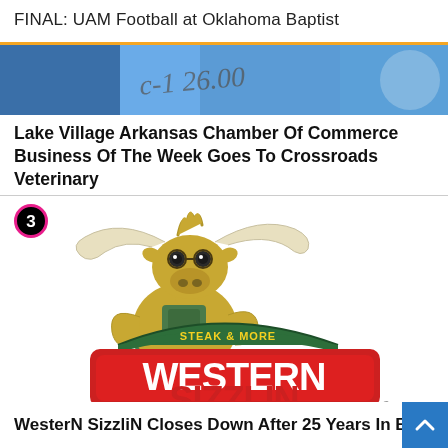FINAL: UAM Football at Oklahoma Baptist
[Figure (photo): Partial banner/header image with blue background and partial text visible]
Lake Village Arkansas Chamber Of Commerce Business Of The Week Goes To Crossroads Veterinary
[Figure (logo): Western Sizzlin Steak & More restaurant logo with cartoon cow mascot character wearing overalls, numbered badge 3 in top left]
WesterN SizzliN Closes Down After 25 Years In Business